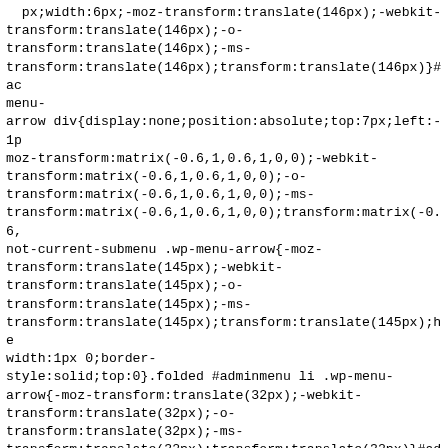px;width:6px;-moz-transform:translate(146px);-webkit-
transform:translate(146px);-o-
transform:translate(146px);-ms-
transform:translate(146px);transform:translate(146px)}#ac
menu-
arrow div{display:none;position:absolute;top:7px;left:-1p
moz-transform:matrix(-0.6,1,0.6,1,0,0);-webkit-
transform:matrix(-0.6,1,0.6,1,0,0);-o-
transform:matrix(-0.6,1,0.6,1,0,0);-ms-
transform:matrix(-0.6,1,0.6,1,0,0);transform:matrix(-0.6,
not-current-submenu .wp-menu-arrow{-moz-
transform:translate(145px);-webkit-
transform:translate(145px);-o-
transform:translate(145px);-ms-
transform:translate(145px);transform:translate(145px);he
width:1px 0;border-
style:solid;top:0}.folded #adminmenu li .wp-menu-
arrow{-moz-transform:translate(32px);-webkit-
transform:translate(32px);-o-
transform:translate(32px);-ms-
transform:translate(32px);transform:translate(32px)}#adm
menu-arrow,#adminmenu li.wp-has-current-submenu .wp-
menu
 -arrow,#adminmenu li.wp-has-current-submenu .wp-menu-
arrow div,#adminmenu li.wp-has-submenu .wp-menu-
arrow div,#adminmenu li.current .wp-menu-arrow div,.no-
js #adminmenu li.wp-has-submenu:hover .wp-menu-
arrow,#adminmenu li.wp-has-submenu.opensub .wp-menu-
arrow,#adminmenu a.wp-has-submenu:focus .wp-menu-
arrow,#adminmenu a:hover  wp-menu-